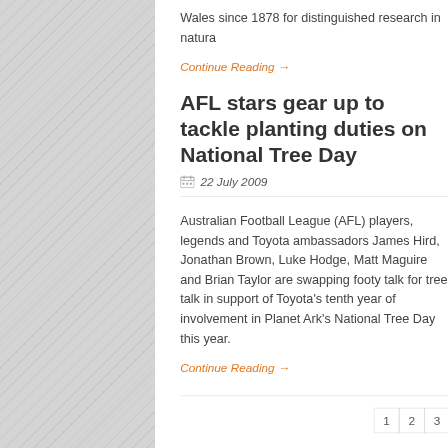Wales since 1878 for distinguished research in natura
Continue Reading →
AFL stars gear up to tackle planting duties on National Tree Day
22 July 2009
Australian Football League (AFL) players, legends and Toyota ambassadors James Hird, Jonathan Brown, Luke Hodge, Matt Maguire and Brian Taylor are swapping footy talk for tree talk in support of Toyota's tenth year of involvement in Planet Ark's National Tree Day this year.
Continue Reading →
1  2  3